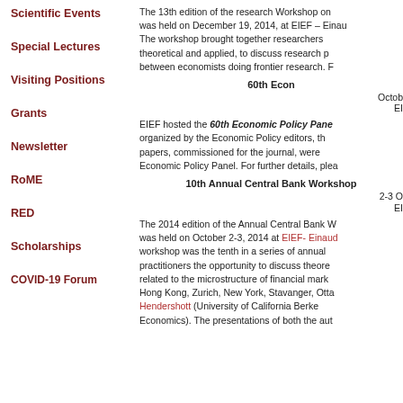Scientific Events
Special Lectures
Visiting Positions
Grants
Newsletter
RoME
RED
Scholarships
COVID-19 Forum
The 13th edition of the research Workshop on was held on December 19, 2014, at EIEF – Einau The workshop brought together researchers theoretical and applied, to discuss research p between economists doing frontier research. F
60th Econ
Octob EI
EIEF hosted the 60th Economic Policy Pane organized by the Economic Policy editors, th papers, commissioned for the journal, were Economic Policy Panel. For further details, plea
10th Annual Central Bank Workshop
2-3 O
EI
The 2014 edition of the Annual Central Bank W was held on October 2-3, 2014 at EIEF- Einaud workshop was the tenth in a series of annual practitioners the opportunity to discuss theore related to the microstructure of financial mark Hong Kong, Zurich, New York, Stavanger, Otta Hendershott (University of California Berke Economics). The presentations of both the aut